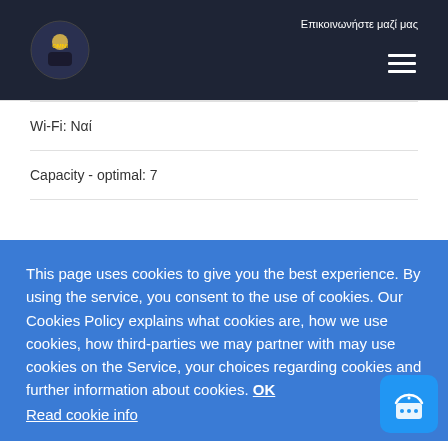Επικοινωνήστε μαζί μας
Wi-Fi: Ναί
Capacity - optimal: 7
This page uses cookies to give you the best experience. By using the service, you consent to the use of cookies. Our Cookies Policy explains what cookies are, how we use cookies, how third-parties we may partner with may use cookies on the Service, your choices regarding cookies and further information about cookies.  OK
Read cookie info